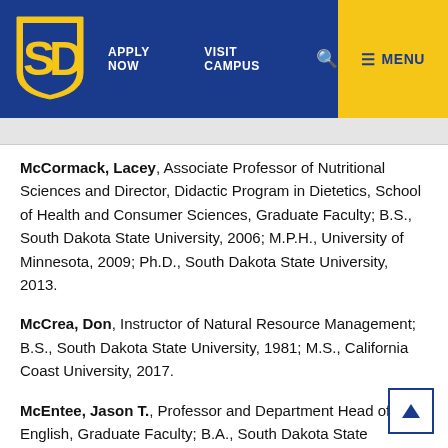[Figure (logo): SDSU (South Dakota State University) logo with gold and blue interlocking letters on blue background]
APPLY NOW   VISIT CAMPUS   🔍   ≡ MENU
McCormack, Lacey, Associate Professor of Nutritional Sciences and Director, Didactic Program in Dietetics, School of Health and Consumer Sciences, Graduate Faculty; B.S., South Dakota State University, 2006; M.P.H., University of Minnesota, 2009; Ph.D., South Dakota State University, 2013.
McCrea, Don, Instructor of Natural Resource Management; B.S., South Dakota State University, 1981; M.S., California Coast University, 2017.
McEntee, Jason T., Professor and Department Head of English, Graduate Faculty; B.A., South Dakota State University, 1994; M.A., 1998; Ph.D.,